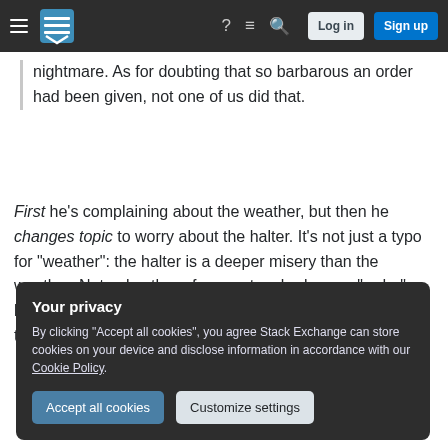Stack Exchange navigation bar with Log in and Sign up buttons
nightmare. As for doubting that so barbarous an order had been given, not one of us did that.
First he's complaining about the weather, but then he changes topic to worry about the halter. It's not just a typo for "weather": the halter is a deeper misery than the weather. Note also the reference to a barbarous "order" being given - the order for hanging, and nothing to do with the weather.
Your privacy
By clicking "Accept all cookies", you agree Stack Exchange can store cookies on your device and disclose information in accordance with our Cookie Policy.
Accept all cookies  Customize settings